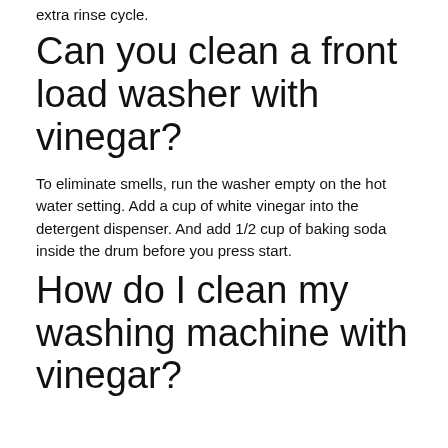extra rinse cycle.
Can you clean a front load washer with vinegar?
To eliminate smells, run the washer empty on the hot water setting. Add a cup of white vinegar into the detergent dispenser. And add 1/2 cup of baking soda inside the drum before you press start.
How do I clean my washing machine with vinegar?